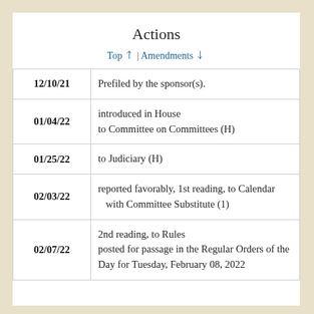Actions
Top ↑ | Amendments ↓
| Date | Action |
| --- | --- |
| 12/10/21 | Prefiled by the sponsor(s). |
| 01/04/22 | introduced in House
to Committee on Committees (H) |
| 01/25/22 | to Judiciary (H) |
| 02/03/22 | reported favorably, 1st reading, to Calendar
with Committee Substitute (1) |
| 02/07/22 | 2nd reading, to Rules
posted for passage in the Regular Orders of the Day for Tuesday, February 08, 2022 |